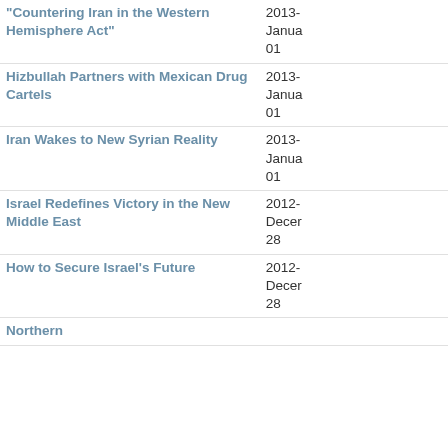| Title | Date |
| --- | --- |
| "Countering Iran in the Western Hemisphere Act" | 2013-January 01 |
| Hizbullah Partners with Mexican Drug Cartels | 2013-January 01 |
| Iran Wakes to New Syrian Reality | 2013-January 01 |
| Israel Redefines Victory in the New Middle East | 2012-December 28 |
| How to Secure Israel's Future | 2012-December 28 |
| Northern |  |